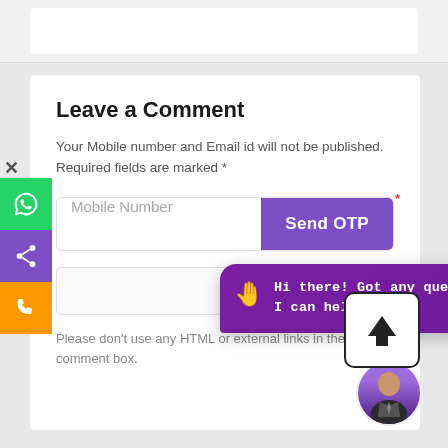Leave a Comment
Your Mobile number and Email id will not be published. Required fields are marked *
[Figure (screenshot): Mobile number input field with Send OTP button, comment form UI]
Please don't use any HTML or external links in the comment box.
[Figure (infographic): Chat popup bubble: Hi there! Got any questions? I can help you... with waving hand emoji. Upload arrow button. WhatsApp, share, and phone icons on left sidebar. Avatar of person in purple circle.]